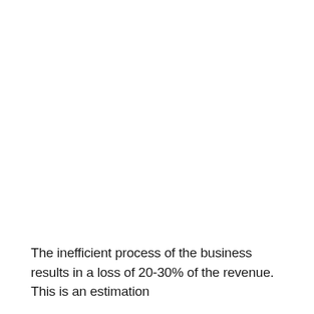The inefficient process of the business results in a loss of 20-30% of the revenue. This is an estimation